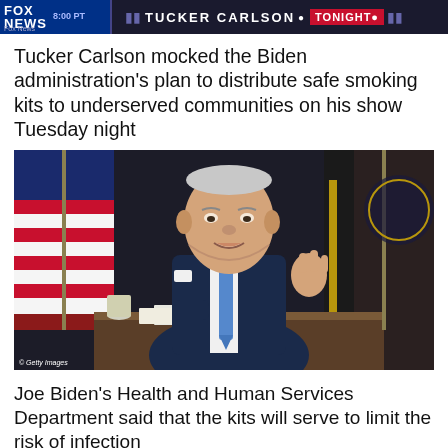[Figure (screenshot): Fox News Tucker Carlson Tonight TV banner/chyron showing show branding with time 8:00 PT]
Tucker Carlson mocked the Biden administration's plan to distribute safe smoking kits to underserved communities on his show Tuesday night
[Figure (photo): Photo of President Joe Biden seated at a desk speaking, gesturing with his right hand. American flags and a presidential seal flag visible in background. Getty Images credit shown.]
Joe Biden's Health and Human Services Department said that the kits will serve to limit the risk of infection